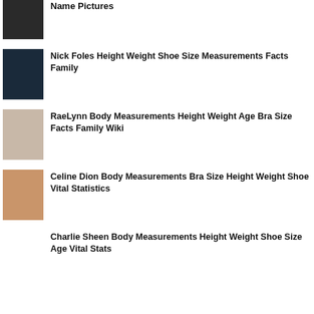(truncated top item - Name Pictures)
Nick Foles Height Weight Shoe Size Measurements Facts Family
RaeLynn Body Measurements Height Weight Age Bra Size Facts Family Wiki
Celine Dion Body Measurements Bra Size Height Weight Shoe Vital Statistics
Charlie Sheen Body Measurements Height Weight Shoe Size Age Vital Stats